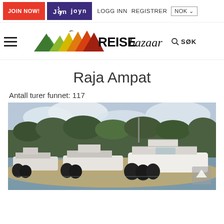JOIN NOW! | joyn | LOGG INN  REGISTRER  NOK
[Figure (logo): REISEbazaar logo with colorful mountain/fire shapes and a bird, with hamburger menu and SØK search button]
Raja Ampat
Antall turer funnet: 117
[Figure (photo): Photo of boats moored on a sandy beach shore with trees in the background and cloudy sky. Multiple motorboats lined up on the water's edge.]